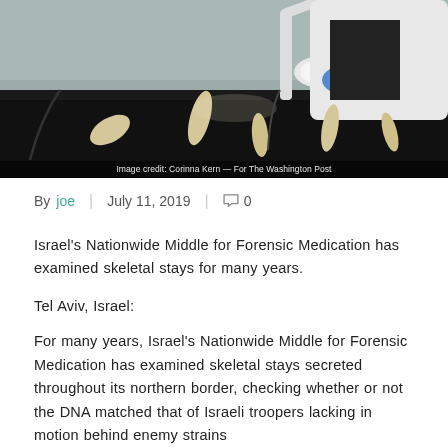[Figure (photo): A person in a white lab coat and blue gloves examining skeletal remains on a black surface under a forensic lamp.]
Image credit: Corinna Kern — For The Washington Post
By joe | July 11, 2019 | 💬 0
Israel's Nationwide Middle for Forensic Medication has examined skeletal stays for many years.
Tel Aviv, Israel:
For many years, Israel's Nationwide Middle for Forensic Medication has examined skeletal stays secreted throughout its northern border, checking whether or not the DNA matched that of Israeli troopers lacking in motion behind enemy strains